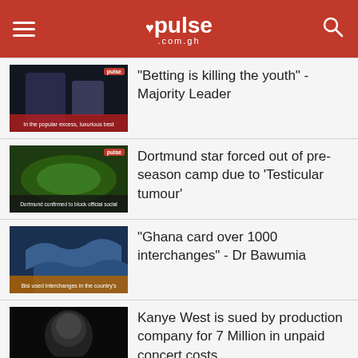pulse.com.gh
"Betting is killing the youth" - Majority Leader
Dortmund star forced out of pre-season camp due to 'Testicular tumour'
"Ghana card over 1000 interchanges" - Dr Bawumia
Kanye West is sued by production company for 7 Million in unpaid concert costs
Tribal marks of Nigerian people and what